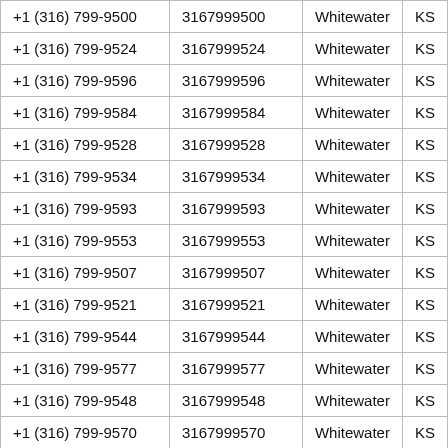| +1 (316) 799-9500 | 3167999500 | Whitewater | KS |
| +1 (316) 799-9524 | 3167999524 | Whitewater | KS |
| +1 (316) 799-9596 | 3167999596 | Whitewater | KS |
| +1 (316) 799-9584 | 3167999584 | Whitewater | KS |
| +1 (316) 799-9528 | 3167999528 | Whitewater | KS |
| +1 (316) 799-9534 | 3167999534 | Whitewater | KS |
| +1 (316) 799-9593 | 3167999593 | Whitewater | KS |
| +1 (316) 799-9553 | 3167999553 | Whitewater | KS |
| +1 (316) 799-9507 | 3167999507 | Whitewater | KS |
| +1 (316) 799-9521 | 3167999521 | Whitewater | KS |
| +1 (316) 799-9544 | 3167999544 | Whitewater | KS |
| +1 (316) 799-9577 | 3167999577 | Whitewater | KS |
| +1 (316) 799-9548 | 3167999548 | Whitewater | KS |
| +1 (316) 799-9570 | 3167999570 | Whitewater | KS |